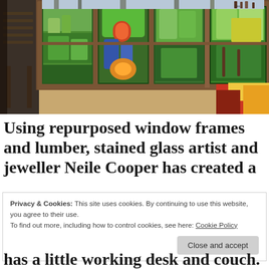[Figure (photo): Interior room with large stained glass windows set in wooden frames showing colorful botanical and abstract designs in greens, reds, yellows and blues. A wooden chair is visible on the left and a colorful blanket/cushion on the right.]
Using repurposed window frames and lumber, stained glass artist and jeweller Neile Cooper has created a
Privacy & Cookies: This site uses cookies. By continuing to use this website, you agree to their use.
To find out more, including how to control cookies, see here: Cookie Policy
has a little working desk and couch.